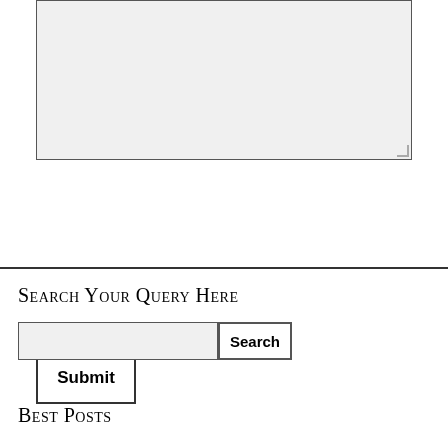[Figure (screenshot): A large textarea input box with light gray background and a resize handle in the bottom-right corner]
Submit
Search Your Query Here
[Figure (screenshot): A search input field with a Search button]
Best Posts